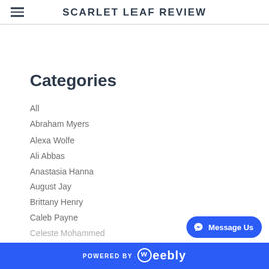SCARLET LEAF REVIEW
Categories
All
Abraham Myers
Alexa Wolfe
Ali Abbas
Anastasia Hanna
August Jay
Brittany Henry
Caleb Payne
Celeste Mohammed
POWERED BY weebly